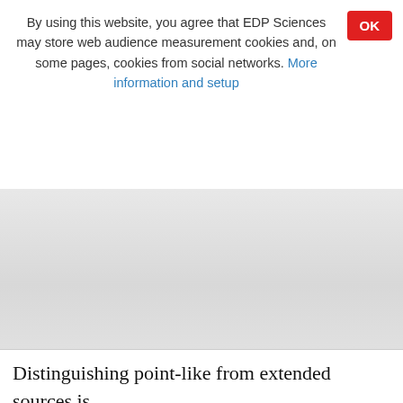By using this website, you agree that EDP Sciences may store web audience measurement cookies and, on some pages, cookies from social networks. More information and setup
Distinguishing point-like from extended sources is